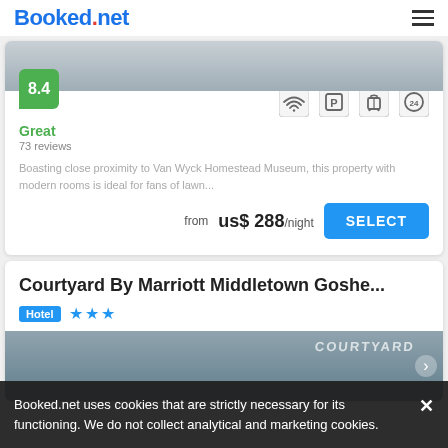Booked.net
[Figure (screenshot): Hotel image strip at top of first card, partially visible]
8.4
Great
73 reviews
[Figure (other): Amenity icons: WiFi, Parking, Luggage storage, 24-hour service]
Boasting close proximity to Van Wyck Homestead Museum, this property with modern rooms is ideal for fans of lawn...
from us$ 288/night
SELECT
Courtyard By Marriott Middletown Goshe...
Hotel ★★★
[Figure (photo): Exterior photo of Courtyard by Marriott hotel building with sign visible]
Booked.net uses cookies that are strictly necessary for its functioning. We do not collect analytical and marketing cookies.